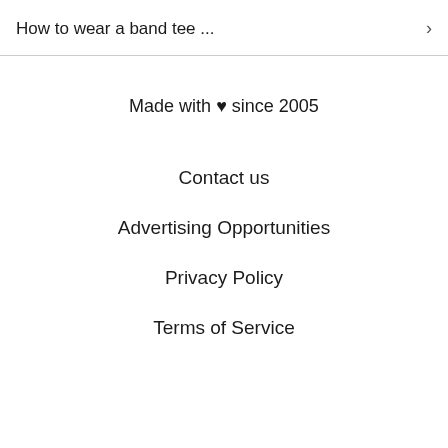How to wear a band tee ... ›
Made with ♥ since 2005
Contact us
Advertising Opportunities
Privacy Policy
Terms of Service